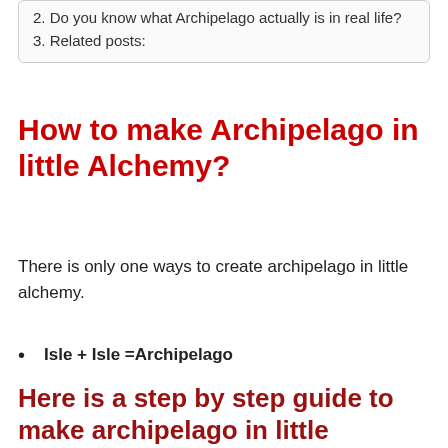2. Do you know what Archipelago actually is in real life?
3. Related posts:
How to make Archipelago in little Alchemy?
There is only one ways to create archipelago in little alchemy.
Isle + Isle = Archipelago
Here is a step by step guide to make archipelago in little Alchemy